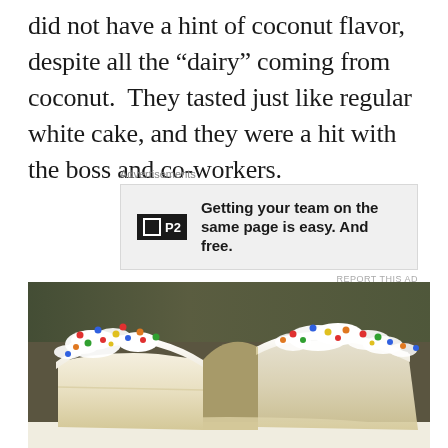did not have a hint of coconut flavor, despite all the “dairy” coming from coconut.  They tasted just like regular white cake, and they were a hit with the boss and co-workers.
[Figure (screenshot): Advertisement box with P2 logo and text: Getting your team on the same page is easy. And free.]
[Figure (photo): Close-up photo of white frosted cake slices with colorful sprinkles on top, showing the interior crumb texture of a white/yellow cake on a white plate or paper.]